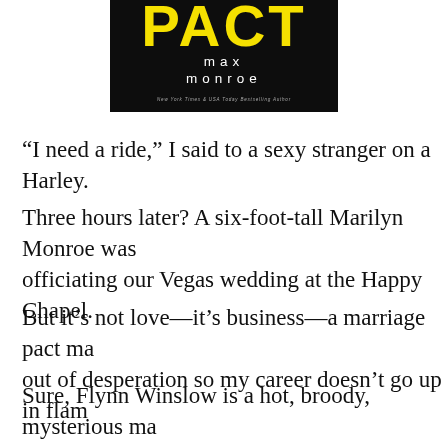[Figure (photo): Book cover showing partial title (PACT) in yellow, author name 'max monroe' in white lowercase letters, and tagline 'New York Times & USA Today Bestselling Author' on a dark background with a figure in a suit]
“I need a ride,” I said to a sexy stranger on a Harley.
Three hours later? A six-foot-tall Marilyn Monroe was officiating our Vegas wedding at the Happy Chapel.
But it’s not love—it’s business—a marriage pact made out of desperation so my career doesn’t go up in flam
Sure, Flynn Winslow is a hot, broody, mysterious ma that women all over the globe would sell their souls land for real, but I have my eyes on the prize and ou marriage arrangement will end in three months with